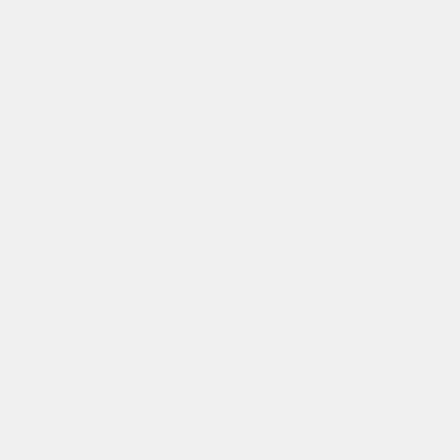The research found that a mutation in a single 23S rRNA gene is the critical step in the emergence of linezolid resistance. Primary colonization with single-mutation mutants were observed as early as 5 days after treatment initiation